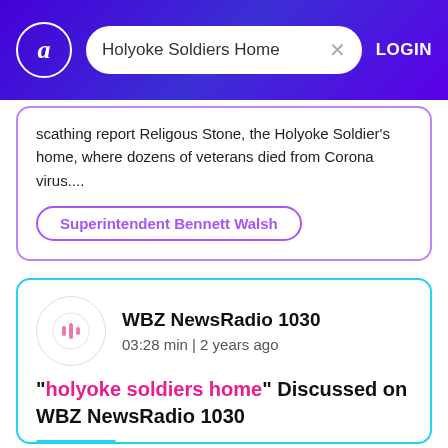Holyoke Soldiers Home | LOGIN
scathing report Religous Stone, the Holyoke Soldier's home, where dozens of veterans died from Corona virus....
Superintendent Bennett Walsh
WBZ NewsRadio 1030
03:28 min | 2 years ago
"holyoke soldiers home" Discussed on WBZ NewsRadio 1030
"A skating independent report has been released on the Holyoke soldiers home and how dozens of veterans lost their lives early on in the corona virus pandemic governor...